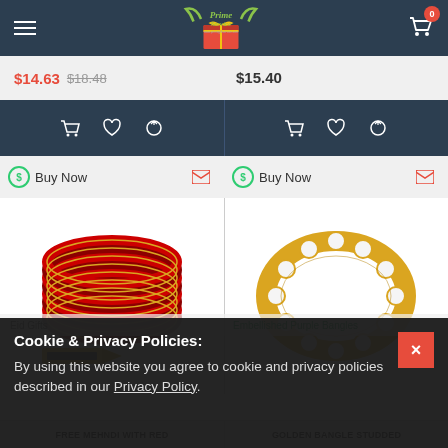[Figure (screenshot): E-commerce website header with hamburger menu, Prime Service logo (green with gift box), and shopping cart icon with 0 badge]
$14.63  $18.48
$15.40
[Figure (screenshot): Dark action bar with cart, heart, and refresh icons for left product]
[Figure (screenshot): Dark action bar with cart, heart, and refresh icons for right product]
Buy Now
Buy Now
[Figure (photo): Red and gold Indian bangles/bracelets stacked together with mehndi cone below]
[Figure (photo): Golden bangle with studded rhinestones/crystals]
Eid Gifts
Embellished Purple Bangles
FREE MEHNDI WITH RED
GOLDEN BANGLE STUDDED
Cookie & Privacy Policies:
By using this website you agree to cookie and privacy policies described in our Privacy Policy.